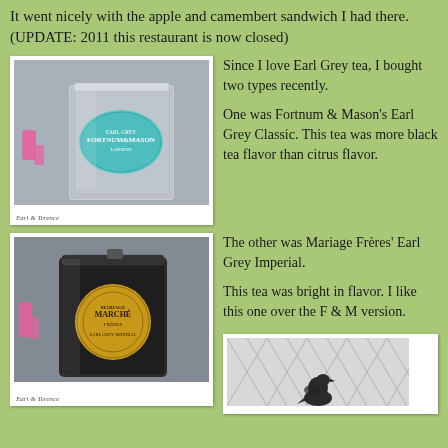It went nicely with the apple and camembert sandwich I had there. (UPDATE: 2011 this restaurant is now closed)
[Figure (photo): Silver tin of Fortnum & Mason Earl Grey tea with blue label, pink candles visible in background]
Since I love Earl Grey tea, I bought two types recently.

One was Fortnum & Mason's Earl Grey Classic. This tea was more black tea flavor than citrus flavor.
[Figure (photo): Black tin of Mariage Frères Earl Grey Imperial tea with gold/yellow label, pink candles in background]
The other was Mariage Frères' Earl Grey Imperial.

This tea was bright in flavor. I like this one over the F & M version.
[Figure (photo): Partial view of a bird (possibly a crow or pigeon) perched near a latticed or fence background]